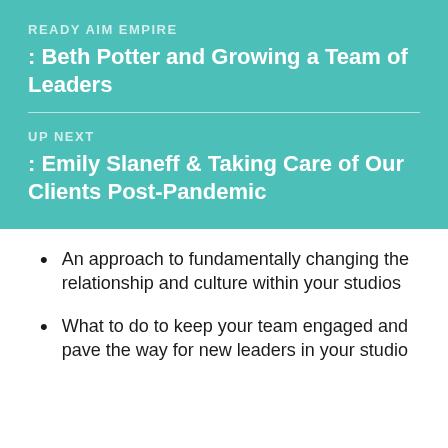READY AIM EMPIRE
: Beth Potter and Growing a Team of Leaders
UP NEXT
: Emily Slaneff & Taking Care of Our Clients Post-Pandemic
An approach to fundamentally changing the relationship and culture within your studios
What to do to keep your team engaged and pave the way for new leaders in your studio